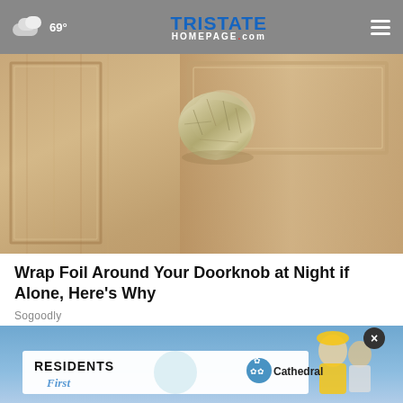69° TriState Homepage.com
[Figure (photo): Close-up photo of a wooden door with aluminum foil wrapped around the doorknob]
Wrap Foil Around Your Doorknob at Night if Alone, Here's Why
Sogoodly
[Figure (photo): Advertisement banner for Residents First - Cathedral with blue sky background and people figures]